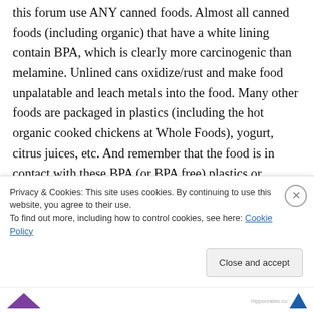this forum use ANY canned foods. Almost all canned foods (including organic) that have a white lining contain BPA, which is clearly more carcinogenic than melamine. Unlined cans oxidize/rust and make food unpalatable and leach metals into the food. Many other foods are packaged in plastics (including the hot organic cooked chickens at Whole Foods), yogurt, citrus juices, etc. And remember that the food is in contact with these BPA (or BPA free) plastics or metals, for weeks, months or, often, years. Yet
Privacy & Cookies: This site uses cookies. By continuing to use this website, you agree to their use.
To find out more, including how to control cookies, see here: Cookie Policy